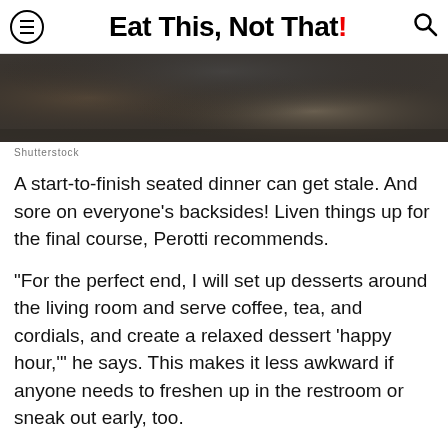Eat This, Not That!
[Figure (photo): Blurred photo of people at a dinner table, dark tones]
Shutterstock
A start-to-finish seated dinner can get stale. And sore on everyone's backsides! Liven things up for the final course, Perotti recommends.
"For the perfect end, I will set up desserts around the living room and serve coffee, tea, and cordials, and create a relaxed dessert 'happy hour,'" he says. This makes it less awkward if anyone needs to freshen up in the restroom or sneak out early, too.